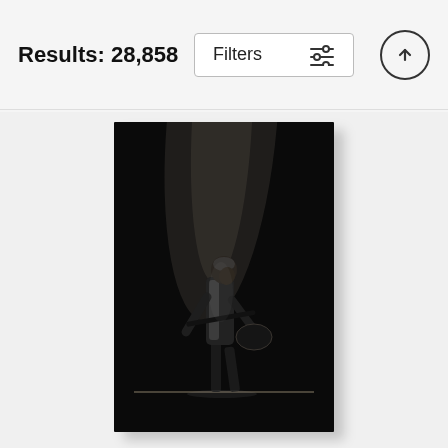Results: 28,858
[Figure (screenshot): Filters button with slider icon and up-arrow circle button in top navigation bar]
[Figure (photo): Black and white concert photo of a guitarist performing on stage under a spotlight, leaning forward playing guitar, dark background]